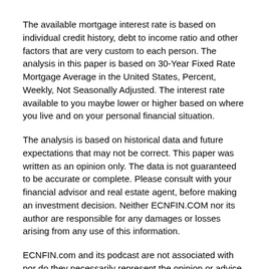The available mortgage interest rate is based on individual credit history, debt to income ratio and other factors that are very custom to each person. The analysis in this paper is based on 30-Year Fixed Rate Mortgage Average in the United States, Percent, Weekly, Not Seasonally Adjusted. The interest rate available to you maybe lower or higher based on where you live and on your personal financial situation.
The analysis is based on historical data and future expectations that may not be correct. This paper was written as an opinion only. The data is not guaranteed to be accurate or complete. Please consult with your financial advisor and real estate agent, before making an investment decision. Neither ECNFIN.COM nor its author are responsible for any damages or losses arising from any use of this information.
ECNFIN.com and its podcast are not associated with nor do they necessarily represent the opinion or advice of Epiqwest Culver Wealth Advisors LLC.  Past performance doesn't guarantee future results.